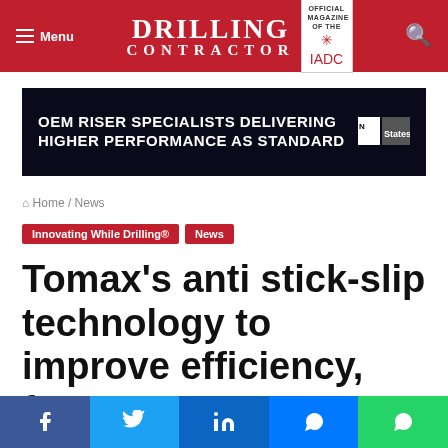Menu | DRILLING CONTRACTOR — Official Magazine of the IADC
[Figure (infographic): Advertisement banner: OEM RISER SPECIALISTS DELIVERING HIGHER PERFORMANCE AS STANDARD — Acteon States logo]
Home / News
Innovating While Drilling® | News
Tomax's anti stick-slip technology to improve efficiency, faster ROP